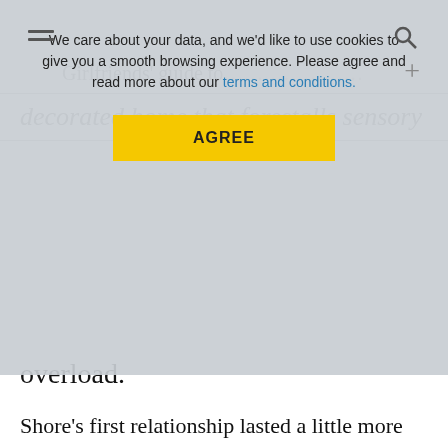[Figure (screenshot): Cookie consent banner overlay on a webpage. Text reads: 'We care about your data, and we'd like to use cookies to give you a smooth browsing experience. Please agree and read more about our terms and conditions.' with a yellow AGREE button.]
decorated home that forestalls sensory overload.
Shore's first relationship lasted a little more than two years. His second ended after just six months, when he discovered that his girlfriend liked to fall asleep to rock music. Shore, who had studied music education in college, found the music too distracting. The couple's incompatible sleep preferences broke their